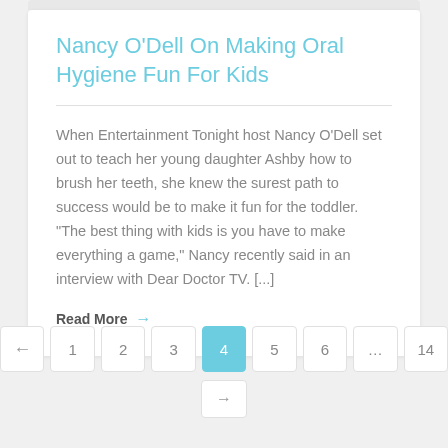Nancy O’Dell On Making Oral Hygiene Fun For Kids
When Entertainment Tonight host Nancy O’Dell set out to teach her young daughter Ashby how to brush her teeth, she knew the surest path to success would be to make it fun for the toddler. “The best thing with kids is you have to make everything a game,” Nancy recently said in an interview with Dear Doctor TV. […]
Read More →